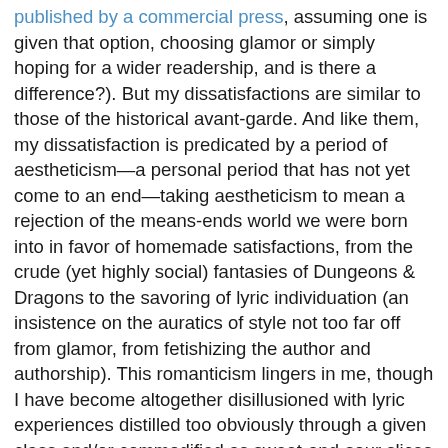published by a commercial press, assuming one is given that option, choosing glamor or simply hoping for a wider readership, and is there a difference?). But my dissatisfactions are similar to those of the historical avant-garde. And like them, my dissatisfaction is predicated by a period of aestheticism—a personal period that has not yet come to an end—taking aestheticism to mean a rejection of the means-ends world we were born into in favor of homemade satisfactions, from the crude (yet highly social) fantasies of Dungeons & Dragons to the savoring of lyric individuation (an insistence on the auratics of style not too far off from glamor, from fetishizing the author and authorship). This romanticism lingers in me, though I have become altogether disillusioned with lyric experiences distilled too obviously through a given class and/or commodified as sweet-and-sour slices of the life no one is actually allowed to lead. (I am thinking here in particular of the working class tragicomedy I associated with Richard Hugo and James Wright as well as the deflated middle class yearnings of Robert Hass and Billy Collins.) Which is not to say my experience of lyric is classless; far from it. Rather, I'm drawn toward poetry that expressly and reflectively manifests